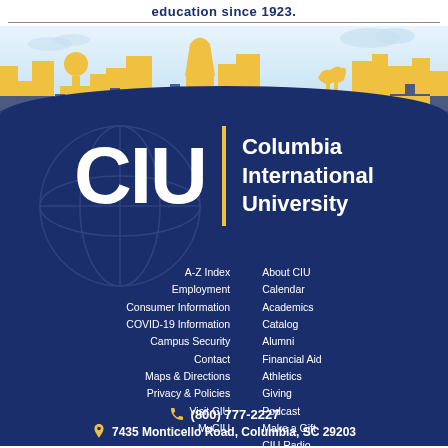education since 1923.
[Figure (illustration): CIU (Columbia International University) logo graphic with city skyline silhouette in gold and dark blue, large white CIU letters with vertical gold bar divider, and 'Columbia International University' text on a dark blue wave/arc background]
A-Z Index
Employment
Consumer Information
COVID-19 Information
Campus Security
Contact
Maps & Directions
Privacy & Policies
Visit CIU
MyCIU
About CIU
Calendar
Academics
Catalog
Alumni
Financial Aid
Athletics
Giving
Podcast
Make a Gift
CIU Radio
(800) 777-2227
7435 Monticello Road, Columbia, SC 29203